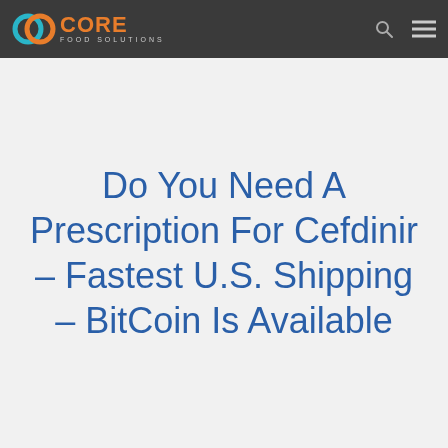CORE FOOD SOLUTIONS
Do You Need A Prescription For Cefdinir – Fastest U.S. Shipping – BitCoin Is Available